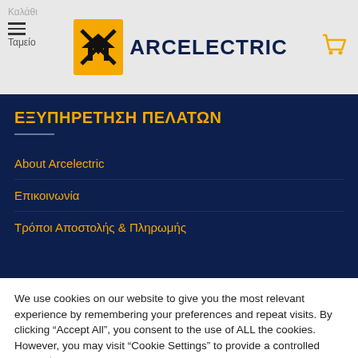[Figure (logo): Arcelectric logo: yellow diamond/bowtie shape with black M letter, next to bold text ARCELECTRIC]
Καλάθι
Ταμείο
ΕΞΥΠΗΡΕΤΗΣΗ ΠΕΛΑΤΩΝ
About Arcelectric
Επικοινωνία
Τρόποι Αποστολής & Πληρωμής
We use cookies on our website to give you the most relevant experience by remembering your preferences and repeat visits. By clicking "Accept All", you consent to the use of ALL the cookies. However, you may visit "Cookie Settings" to provide a controlled consent.